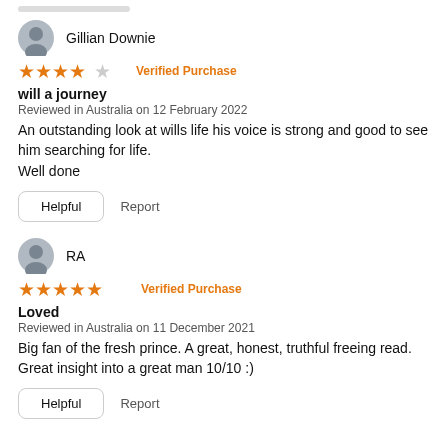Gillian Downie
★★★★☆ Verified Purchase
will a journey
Reviewed in Australia on 12 February 2022
An outstanding look at wills life his voice is strong and good to see him searching for life.
Well done
Helpful   Report
RA
★★★★★ Verified Purchase
Loved
Reviewed in Australia on 11 December 2021
Big fan of the fresh prince. A great, honest, truthful freeing read. Great insight into a great man 10/10 :)
Helpful   Report